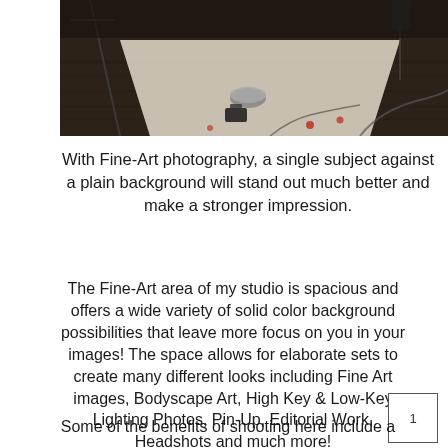[Figure (photo): Interior of a photography studio with dark hardwood floors, a white backdrop, photography equipment including stands and lighting rigs, and various props scattered on the floor.]
With Fine-Art photography, a single subject against a plain background will stand out much better and make a stronger impression.
The Fine-Art area of my studio is spacious and offers a wide variety of solid color background possibilities that leave more focus on you in your images! The space allows for elaborate sets to create many different looks including Fine Art images, Bodyscape Art, High Key & Low-Key Lighting Photos, Pin-Up, Editorial Work, Headshots and much more!
1
Some of the benefits of shooting here include a